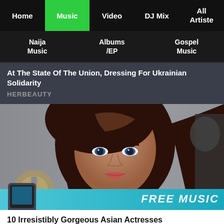Home | Music | Video | DJ Mix | All Artiste
Naija Music | Albums /EP | Gospel Music
At The State Of The Union, Dressing For Ukrainian Solidarity
HERBEAUTY
[Figure (photo): Photo of a beautiful dark-haired woman looking at the camera with a FREE MUSIC banner overlay at the bottom]
10 Irresistibly Gorgeous Asian Actresses
BRAINBERRIES